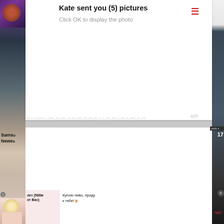[Figure (screenshot): Profile picture thumbnail top-left showing a person with purple/dark background]
Kate sent you (5) pictures
Click OK to display the photo
a1h
[Figure (screenshot): Mobile app screenshot showing chat dialog overlay with Samsung and chat notifications at bottom]
Samsi
Newe:
onds x
17
2
a1h
лет (500м от Вас)
Куплю пиво, приду к тебе!🍺
ЧАТ